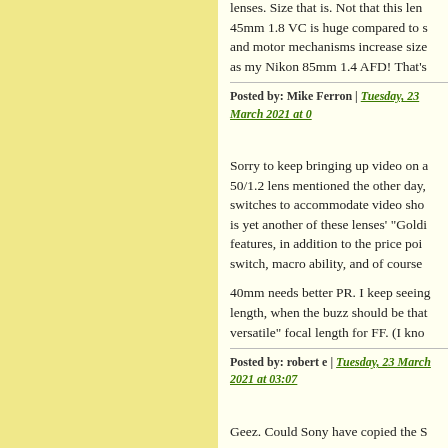lenses. Size that is. Not that this lens. 45mm 1.8 VC is huge compared to s and motor mechanisms increase size as my Nikon 85mm 1.4 AFD! That's
Posted by: Mike Ferron | Tuesday, 23 March 2021 at 0
Sorry to keep bringing up video on a 50/1.2 lens mentioned the other day, switches to accommodate video sho is yet another of these lenses' "Goldi features, in addition to the price poi switch, macro ability, and of course
40mm needs better PR. I keep seeing length, when the buzz should be that versatile" focal length for FF. (I kno
Posted by: robert e | Tuesday, 23 March 2021 at 03:07
Geez. Could Sony have copied the S